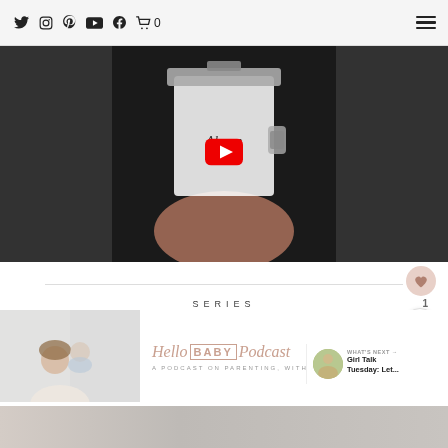Navigation bar with social icons: Twitter, Instagram, Pinterest, YouTube, Facebook, Cart (0), and hamburger menu
[Figure (screenshot): Video thumbnail showing a hand holding a glass jar labeled 'Almond Flour' with a metal clasp lid, with a red YouTube play button overlay in the center, dark background on sides]
SERIES
[Figure (screenshot): Hello Baby Podcast card showing a woman holding a baby on the left, with text 'Hello BABY Podcast - A Podcast on Parenting, with A...' on the right in pink/rose tones]
WHAT'S NEXT → Girl Talk Tuesday: Let...
[Figure (photo): Bottom strip showing a partial photo, brownish-gray tones]